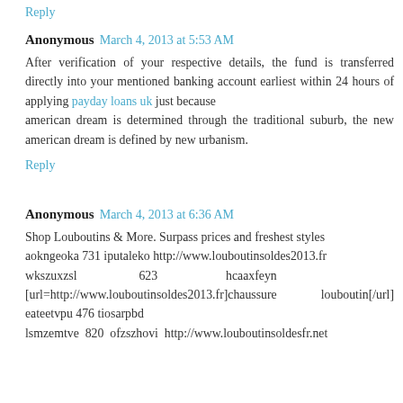Reply
Anonymous  March 4, 2013 at 5:53 AM
After verification of your respective details, the fund is transferred directly into your mentioned banking account earliest within 24 hours of applying payday loans uk just because
american dream is determined through the traditional suburb, the new american dream is defined by new urbanism.
Reply
Anonymous  March 4, 2013 at 6:36 AM
Shop Louboutins & More. Surpass prices and freshest styles
aokngeoka 731 iputaleko http://www.louboutinsoldes2013.fr
wkszuxzsl                    623                       hcaaxfeyn
[url=http://www.louboutinsoldes2013.fr]chaussure louboutin[/url] eateetvpu 476 tiosarpbd
lsmzemtve  820  ofzszhovi  http://www.louboutinsoldesfr.net